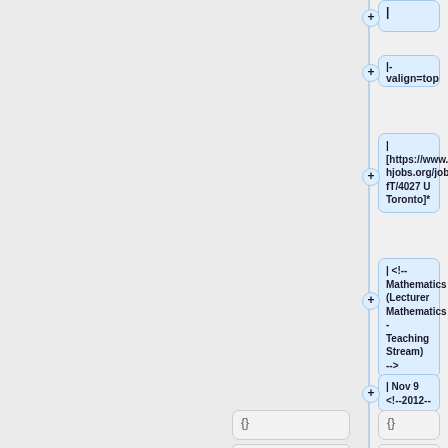[Figure (screenshot): Wiki/diff editor tree view showing node boxes with wiki markup content including table cells, valign=top, URL links, HTML comments for Mathematics Lecturer, date entries, and closing braces. Left panel is gray, right panel shows blue rounded node boxes with + expand buttons.]
|
|- valign=top
| [https://www.mathjobs.org/jobs/UofT/4027 U Toronto]*
| <!-- Mathematics (Lecturer Mathematics - Teaching Stream) -->
| Nov 9 <!--2012-->
|
|
{}
{}